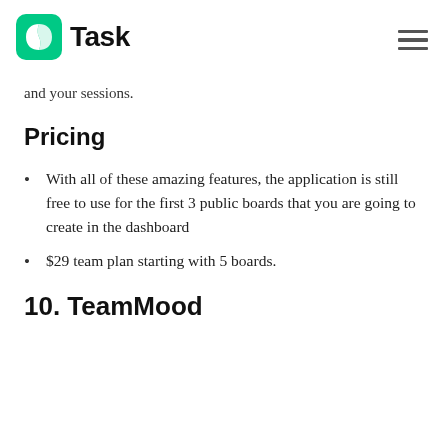NTask
and your sessions.
Pricing
With all of these amazing features, the application is still free to use for the first 3 public boards that you are going to create in the dashboard
$29 team plan starting with 5 boards.
10. TeamMood